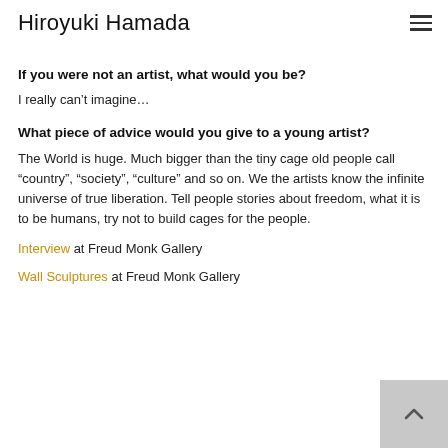Hiroyuki Hamada
If you were not an artist, what would you be?
I really can’t imagine…
What piece of advice would you give to a young artist?
The World is huge. Much bigger than the tiny cage old people call “country”, “society”, “culture” and so on. We the artists know the infinite universe of true liberation. Tell people stories about freedom, what it is to be humans, try not to build cages for the people.
Interview at Freud Monk Gallery
Wall Sculptures at Freud Monk Gallery